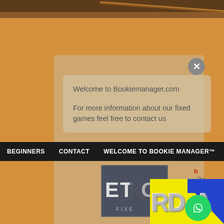[Figure (screenshot): Website screenshot of Bookiemanager.com showing a welcome popup modal with close button, navigation bar with BEGINNERS, CONTACT, WELCOME TO BOOKIE MANAGER links, a logo with ETO/FIXE text, and bottom corner with yellow/blue banner, RDA logo, and WhatsApp button]
Welcome to Bookiemanager.com
For more information about our fixed games feel free to contact us
BEGINNERS   CONTACT   WELCOME TO BOOKIE MANAGER™   V
h
← Ba